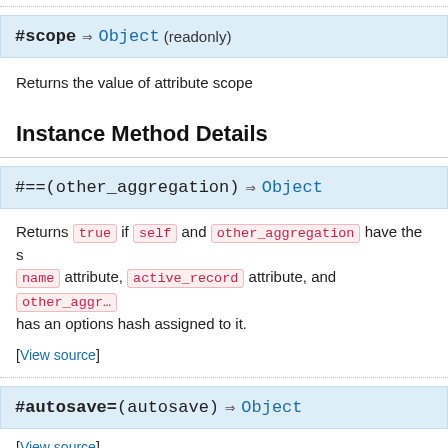#scope ⇒ Object (readonly)
Returns the value of attribute scope
Instance Method Details
#==(other_aggregation) ⇒ Object
Returns true if self and other_aggregation have the same name attribute, active_record attribute, and other_aggr… has an options hash assigned to it.
[View source]
#autosave=(autosave) ⇒ Object
[View source]